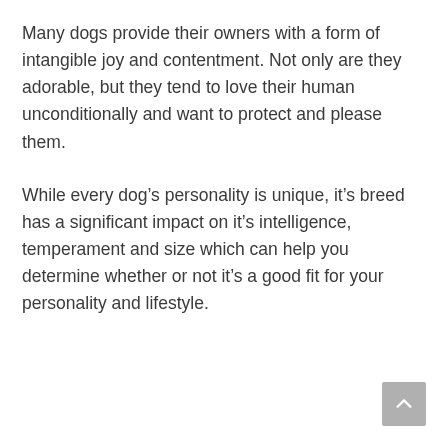Many dogs provide their owners with a form of intangible joy and contentment. Not only are they adorable, but they tend to love their human unconditionally and want to protect and please them.
While every dog’s personality is unique, it’s breed has a significant impact on it’s intelligence, temperament and size which can help you determine whether or not it’s a good fit for your personality and lifestyle.